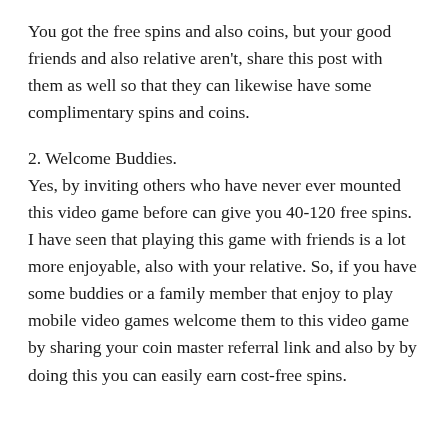You got the free spins and also coins, but your good friends and also relative aren't, share this post with them as well so that they can likewise have some complimentary spins and coins.
2. Welcome Buddies.
Yes, by inviting others who have never ever mounted this video game before can give you 40-120 free spins. I have seen that playing this game with friends is a lot more enjoyable, also with your relative. So, if you have some buddies or a family member that enjoy to play mobile video games welcome them to this video game by sharing your coin master referral link and also by by doing this you can easily earn cost-free spins.